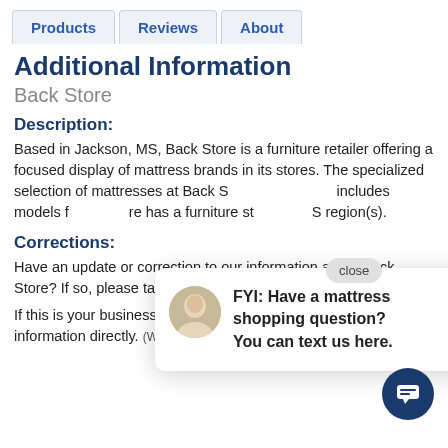Products | Reviews | About
Additional Information
Back Store
Description:
Based in Jackson, MS, Back Store is a furniture retailer offering a focused display of mattress brands in its stores. The specialized selection of mattresses at Back S includes models f re has a furniture st S region(s).
Corrections:
Have an update or correction to our information about Back Store? If so, please take a moment to suggest an e
If this is your business, claim your profile to update the information directly. (What's this?)
[Figure (screenshot): Chat popup with avatar: FYI: Have a mattress shopping question? You can text us here. Close button visible.]